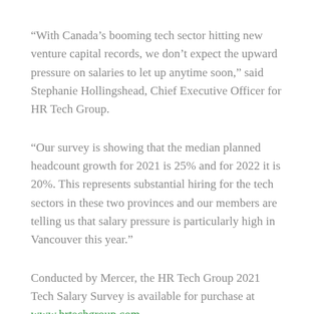“With Canada’s booming tech sector hitting new venture capital records, we don’t expect the upward pressure on salaries to let up anytime soon,” said Stephanie Hollingshead, Chief Executive Officer for HR Tech Group.
“Our survey is showing that the median planned headcount growth for 2021 is 25% and for 2022 it is 20%. This represents substantial hiring for the tech sectors in these two provinces and our members are telling us that salary pressure is particularly high in Vancouver this year.”
Conducted by Mercer, the HR Tech Group 2021 Tech Salary Survey is available for purchase at www.hrtechgroup.com.